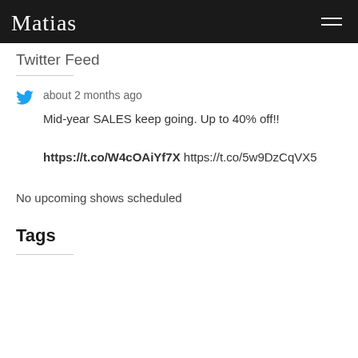Matias
Twitter Feed
about 2 months ago
Mid-year SALES keep going. Up to 40% off!! https://t.co/W4cOAiYf7X https://t.co/5w9DzCqVX5
No upcoming shows scheduled
Tags